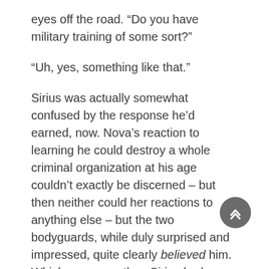eyes off the road. “Do you have military training of some sort?”
“Uh, yes, something like that.”
Sirius was actually somewhat confused by the response he’d earned, now. Nova’s reaction to learning he could destroy a whole criminal organization at his age couldn’t exactly be discerned – but then neither could her reactions to anything else – but the two bodyguards, while duly surprised and impressed, quite clearly believed him. Which was more than Sirius had expected. Could two trained soldiers so easily accept that a 15-year-old had this sort of ability, merely glossing over it with ‘military training’?
“Are you taking my word on it that I’m telling the truth? That I’m the one who took down that cartel?” he asked carefully. “You don’t find it… inconceivable at all? I